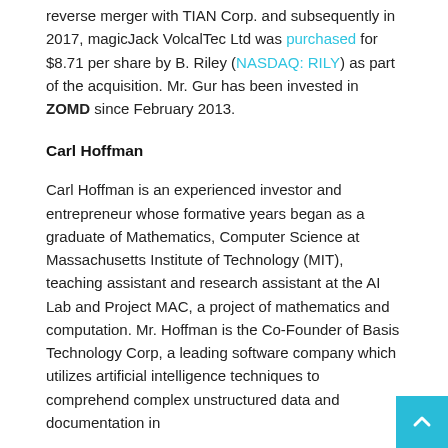reverse merger with TIAN Corp. and subsequently in 2017, magicJack VolcalTec Ltd was purchased for $8.71 per share by B. Riley (NASDAQ: RILY) as part of the acquisition. Mr. Gur has been invested in ZOMD since February 2013.
Carl Hoffman
Carl Hoffman is an experienced investor and entrepreneur whose formative years began as a graduate of Mathematics, Computer Science at Massachusetts Institute of Technology (MIT), teaching assistant and research assistant at the AI Lab and Project MAC, a project of mathematics and computation. Mr. Hoffman is the Co-Founder of Basis Technology Corp, a leading software company which utilizes artificial intelligence techniques to comprehend complex unstructured data and documentation in